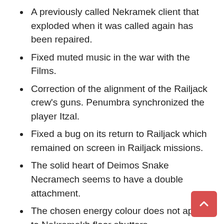A previously called Nekramek client that exploded when it was called again has been repaired.
Fixed muted music in the war with the Films.
Correction of the alignment of the Railjack crew's guns. Penumbra synchronized the player Itzal.
Fixed a bug on its return to Railjack which remained on screen in Railjack missions.
The solid heart of Deimos Snake Necramech seems to have a double attachment.
The chosen energy colour does not apply to Nekramekh floor shutters.
Fixed elementary traces and change effects for Bonewidow's elevated